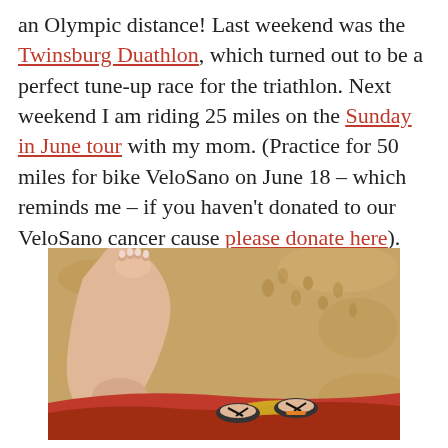an Olympic distance! Last weekend was the Twinsburg Duathlon, which turned out to be a perfect tune-up race for the triathlon. Next weekend I am riding 25 miles on the Sunday in June tour with my mom. (Practice for 50 miles for bike VeloSano on June 18 – which reminds me – if you haven't donated to our VeloSano cancer cause please donate here).
[Figure (photo): A person's arm raised showing a wrist tattoo, with feet in flip-flops visible below on sandy ground. The person is wearing red/colorful shorts. View is looking down from above.]